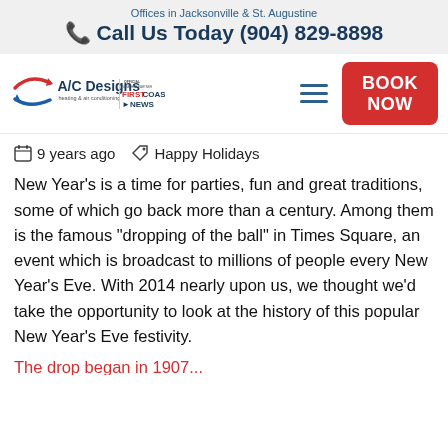Offices in Jacksonville & St. Augustine
📞 Call Us Today (904) 829-8898
[Figure (logo): A/C Designs heating & air conditioning logo with red and blue arrows, next to First Coast News Official Weather Partner logo]
9 years ago   🏷 Happy Holidays
New Year's is a time for parties, fun and great traditions, some of which go back more than a century. Among them is the famous "dropping of the ball" in Times Square, an event which is broadcast to millions of people every New Year's Eve. With 2014 nearly upon us, we thought we'd take the opportunity to look at the history of this popular New Year's Eve festivity.
The drop began in 1907...